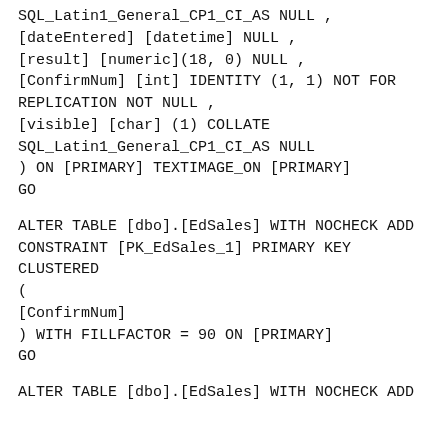SQL_Latin1_General_CP1_CI_AS NULL ,
[dateEntered] [datetime] NULL ,
[result] [numeric](18, 0) NULL ,
[ConfirmNum] [int] IDENTITY (1, 1) NOT FOR REPLICATION NOT NULL ,
[visible] [char] (1) COLLATE SQL_Latin1_General_CP1_CI_AS NULL
) ON [PRIMARY] TEXTIMAGE_ON [PRIMARY]
GO
ALTER TABLE [dbo].[EdSales] WITH NOCHECK ADD CONSTRAINT [PK_EdSales_1] PRIMARY KEY CLUSTERED
(
[ConfirmNum]
) WITH FILLFACTOR = 90 ON [PRIMARY]
GO
ALTER TABLE [dbo].[EdSales] WITH NOCHECK ADD